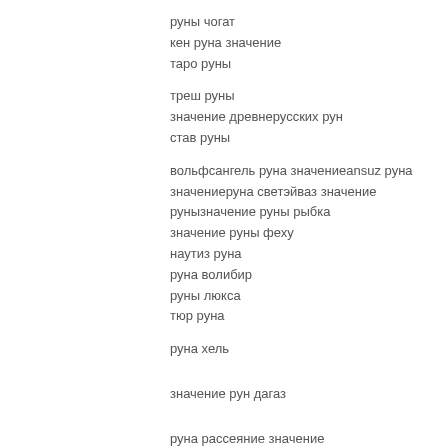руны чогат
кен руна значение
таро руны
треш руны
значение древнерусских рун
став руны
вольфсангель руна значениеansuz руна значениеруна светэйваз значение рунызначение руны рыбка
значение руны феху
наутиз руна
руна волибир
руны люкса
тюр руна
руна хель
значение рун дагаз
руна рассеяние значение